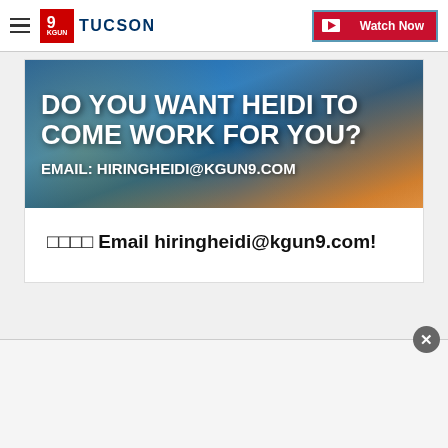TUCSON | Watch Now
[Figure (illustration): Promotional banner image with colorful background showing text: 'DO YOU WANT HEIDI TO COME WORK FOR YOU?' and 'EMAIL: HIRINGHEIDI@KGUN9.COM']
□□□□ Email hiringheidi@kgun9.com!
[Figure (illustration): Bottom advertisement bar with close (X) button]